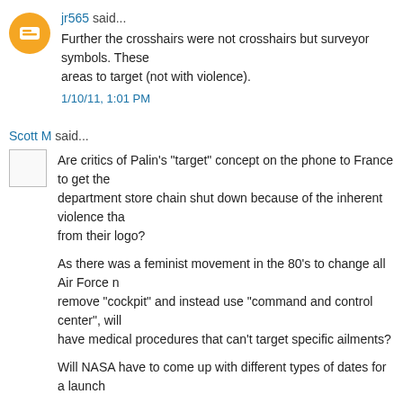jr565 said...
Further the crosshairs were not crosshairs but surveyor symbols. These areas to target (not with violence).
1/10/11, 1:01 PM
Scott M said...
Are critics of Palin's "target" concept on the phone to France to get the department store chain shut down because of the inherent violence that from their logo?
As there was a feminist movement in the 80's to change all Air Force remove "cockpit" and instead use "command and control center", will have medical procedures that can't target specific ailments?
Will NASA have to come up with different types of dates for a launch
Gee whiz...the PC we-own-the-language police are going to have to pr overtime on this one.
1/10/11, 1:05 PM